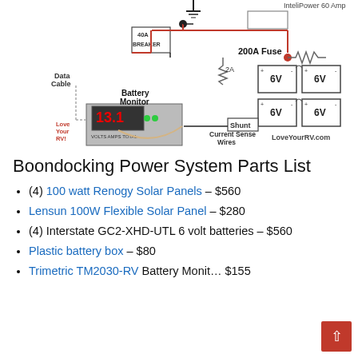[Figure (schematic): Electrical wiring diagram of a boondocking power system showing battery monitor with data cable, 40A breaker, InteliPower 60 Amp converter, 200A fuse, 2A fuse, four 6V batteries, shunt, current sense wires, and LoveYourRV.com branding.]
Boondocking Power System Parts List
(4) 100 watt Renogy Solar Panels – $560
Lensun 100W Flexible Solar Panel – $280
(4) Interstate GC2-XHD-UTL 6 volt batteries – $560
Plastic battery box – $80
Trimetric TM2030-RV Battery Monitor – $155